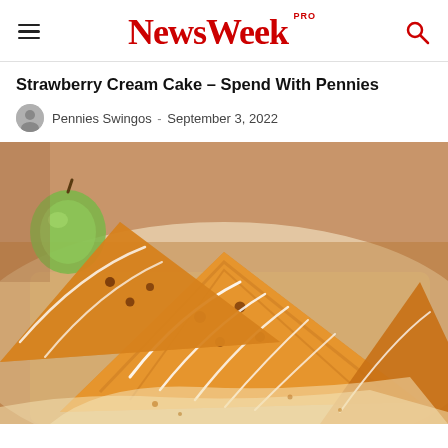NewsWeek PRO
Strawberry Cream Cake – Spend With Pennies
Pennies Swingos - September 3, 2022
[Figure (photo): Close-up photo of golden-brown apple turnovers with white icing drizzle on parchment paper, with a green apple visible in the background]